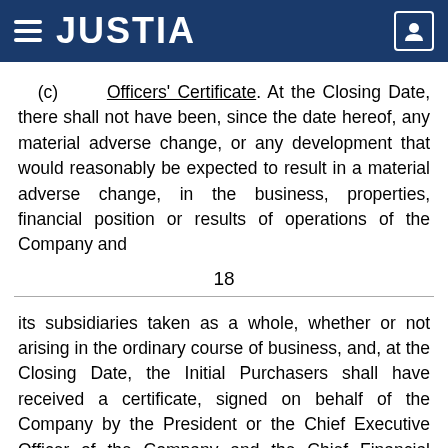JUSTIA
(c) Officers' Certificate. At the Closing Date, there shall not have been, since the date hereof, any material adverse change, or any development that would reasonably be expected to result in a material adverse change, in the business, properties, financial position or results of operations of the Company and
18
its subsidiaries taken as a whole, whether or not arising in the ordinary course of business, and, at the Closing Date, the Initial Purchasers shall have received a certificate, signed on behalf of the Company by the President or the Chief Executive Officer of the Company and the Chief Financial Officer or Chief Accounting Officer of the Company, to the effect that, on behalf of